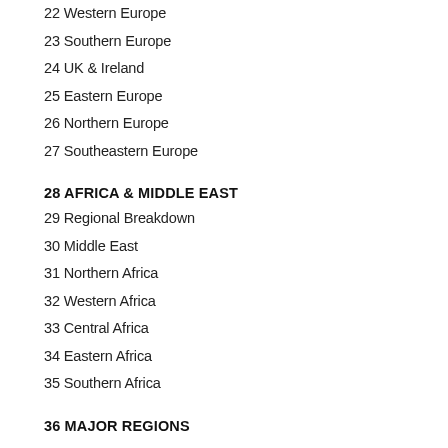22 Western Europe
23 Southern Europe
24 UK & Ireland
25 Eastern Europe
26 Northern Europe
27 Southeastern Europe
28 AFRICA & MIDDLE EAST
29 Regional Breakdown
30 Middle East
31 Northern Africa
32 Western Africa
33 Central Africa
34 Eastern Africa
35 Southern Africa
36 MAJOR REGIONS